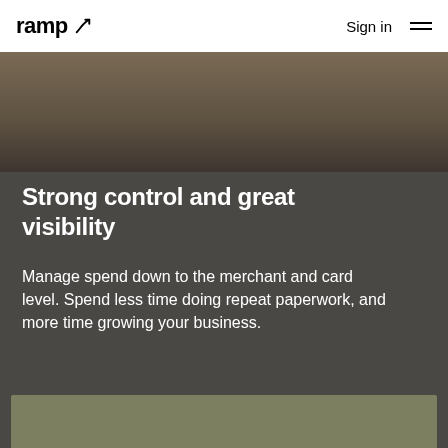ramp  Sign in
[Figure (photo): Partial photo of a person working at a laptop, cropped to show hands and keyboard area]
Strong control and great visibility
Manage spend down to the merchant and card level. Spend less time doing repeat paperwork, and more time growing your business.
[Figure (photo): Bottom portion of a photo, olive/muted green color, partially visible]